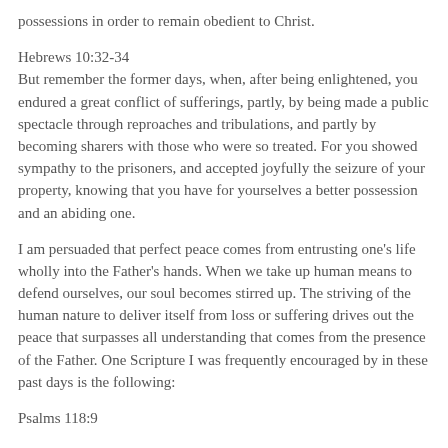possessions in order to remain obedient to Christ.
Hebrews 10:32-34
But remember the former days, when, after being enlightened, you endured a great conflict of sufferings, partly, by being made a public spectacle through reproaches and tribulations, and partly by becoming sharers with those who were so treated. For you showed sympathy to the prisoners, and accepted joyfully the seizure of your property, knowing that you have for yourselves a better possession and an abiding one.
I am persuaded that perfect peace comes from entrusting one's life wholly into the Father's hands. When we take up human means to defend ourselves, our soul becomes stirred up. The striving of the human nature to deliver itself from loss or suffering drives out the peace that surpasses all understanding that comes from the presence of the Father. One Scripture I was frequently encouraged by in these past days is the following:
Psalms 118:9